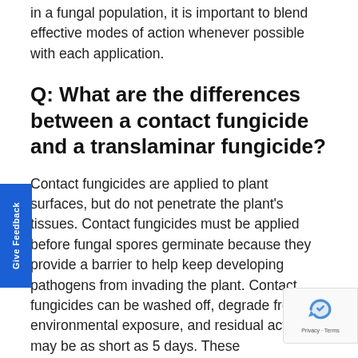in a fungal population, it is important to blend effective modes of action whenever possible with each application.
Q: What are the differences between a contact fungicide and a translaminar fungicide?
Contact fungicides are applied to plant surfaces, but do not penetrate the plant's tissues. Contact fungicides must be applied before fungal spores germinate because they provide a barrier to help keep developing pathogens from invading the plant. Contact fungicides can be washed off, degrade from environmental exposure, and residual activity may be as short as 5 days. These